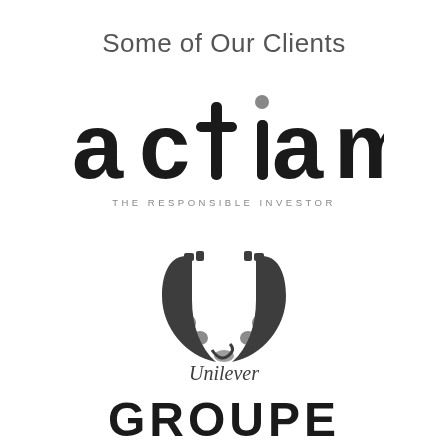Some of Our Clients
[Figure (logo): ACTIAM – The Responsible Investor logo in dark gray/black sans-serif lettering with a dot above the letter i]
[Figure (logo): Unilever logo: decorative U shape made of illustrated nature/life motifs, with 'Unilever' text in italic script below]
[Figure (logo): GROUPE text in bold black uppercase sans-serif, partial logo visible at bottom of page]